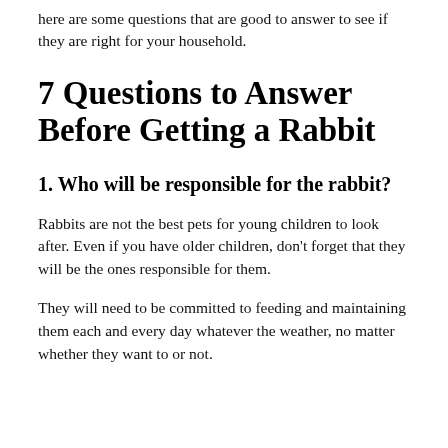here are some questions that are good to answer to see if they are right for your household.
7 Questions to Answer Before Getting a Rabbit
1. Who will be responsible for the rabbit?
Rabbits are not the best pets for young children to look after. Even if you have older children, don't forget that they will be the ones responsible for them.
They will need to be committed to feeding and maintaining them each and every day whatever the weather, no matter whether they want to or not.